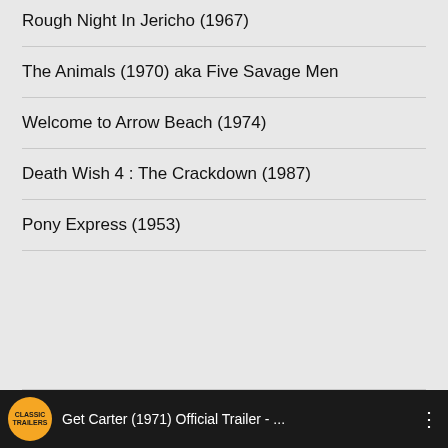Rough Night In Jericho (1967)
The Animals (1970) aka Five Savage Men
Welcome to Arrow Beach (1974)
Death Wish 4 : The Crackdown (1987)
Pony Express (1953)
[Figure (screenshot): Video thumbnail bar showing 'Get Carter (1971) Official Trailer - ...' with Classic Trailers logo (orange circle) on dark background]